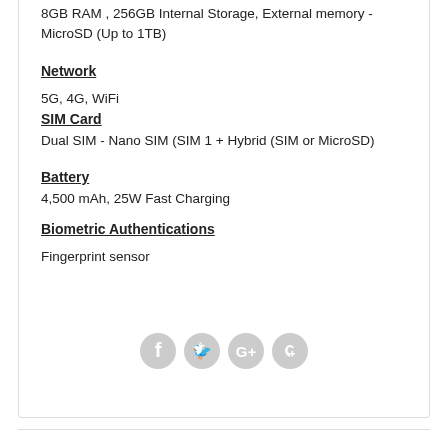8GB RAM , 256GB Internal Storage, External memory - MicroSD (Up to 1TB)
Network
5G, 4G, WiFi
SIM Card
Dual SIM - Nano SIM (SIM 1 + Hybrid (SIM or MicroSD)
Battery
4,500 mAh, 25W Fast Charging
Biometric Authentications
Fingerprint sensor
[Figure (other): Social media icons: Facebook, Twitter, Google+, Pinterest]